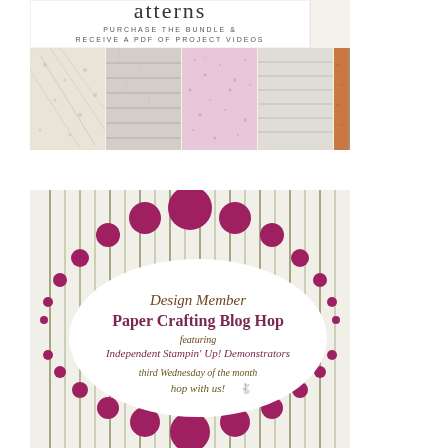[Figure (illustration): Product bundle advertisement showing patterned paper sheets with text 'PURCHASE THE BUNDLE & RECEIVE A PDF OF PROJECT VIDEOS']
[Figure (illustration): Design Member Paper Crafting Blog Hop badge featuring Independent Stampin' Up! Demonstrators, with pink circles and stripe pattern, text reads 'third Wednesday of the month hop with us!']